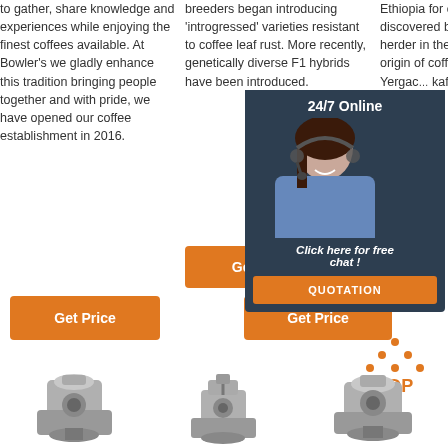to gather, share knowledge and experiences while enjoying the finest coffees available. At Bowler's we gladly enhance this tradition bringing people together and with pride, we have opened our coffee establishment in 2016.
breeders began introducing 'introgressed' varieties resistant to coffee leaf rust. More recently, genetically diverse F1 hybrids have been introduced.
Ethiopia for centuries before it was discovered by an Ethiopian goat herder in the 13 th c... Ethiopia origin of coffee provide... world r... Yergac... kaffa, D... Sidama... coffee.
[Figure (infographic): 24/7 Online chat widget with a female customer service agent wearing a headset, dark background panel with text 'Click here for free chat!' and an orange QUOTATION button]
[Figure (infographic): Orange 'TOP' arrow/logo with dots above, indicating scroll to top]
[Figure (photo): Three coffee roasting machines shown side by side at the bottom of the page]